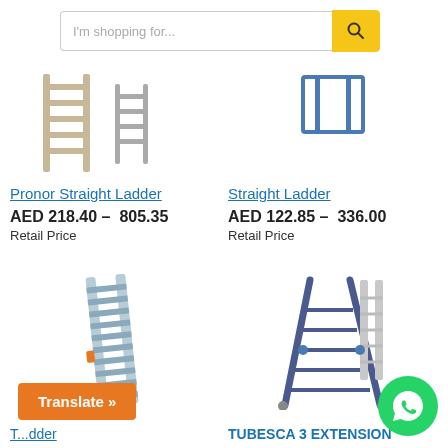[Figure (screenshot): Search bar with 'I'm shopping for...' placeholder and yellow search button]
[Figure (photo): Pronor Straight Ladder product image]
Pronor Straight Ladder
AED 218.40 – 805.35 Retail Price
[Figure (photo): Straight Ladder product image]
Straight Ladder
AED 122.85 – 336.00 Retail Price
[Figure (photo): Extension ladder product image (bottom half visible)]
T...dder
[Figure (photo): TUBESCA 3 EXTENSION ladder product image]
TUBESCA 3 EXTENSION
[Figure (other): Translate button (orange)]
[Figure (other): WhatsApp floating button (green circle)]